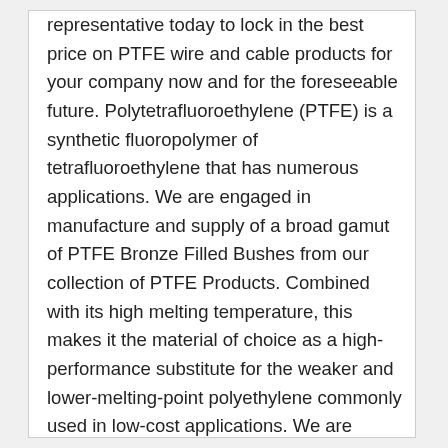representative today to lock in the best price on PTFE wire and cable products for your company now and for the foreseeable future. Polytetrafluoroethylene (PTFE) is a synthetic fluoropolymer of tetrafluoroethylene that has numerous applications. We are engaged in manufacture and supply of a broad gamut of PTFE Bronze Filled Bushes from our collection of PTFE Products. Combined with its high melting temperature, this makes it the material of choice as a high-performance substitute for the weaker and lower-melting-point polyethylene commonly used in low-cost applications. We are extending this special opportunity to all our valued customers to lock in our best price on PTFE products through April 20. We encourage all our customers to think strategically and save thousands of dollars down the road by making blanket orders through April 20. Allied Wire & Cable's inventory of PTFE products is bountiful and able to meet your needs. Because we only use high-performance plastic materials, our products